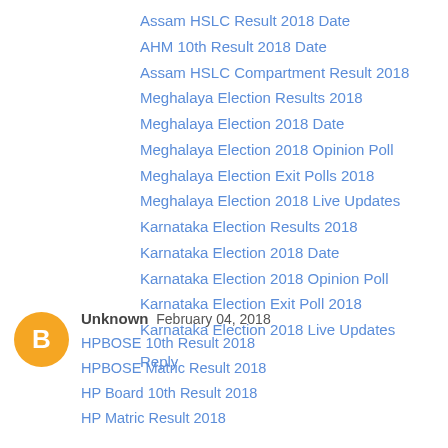Assam HSLC Result 2018 Date
AHM 10th Result 2018 Date
Assam HSLC Compartment Result 2018
Meghalaya Election Results 2018
Meghalaya Election 2018 Date
Meghalaya Election 2018 Opinion Poll
Meghalaya Election Exit Polls 2018
Meghalaya Election 2018 Live Updates
Karnataka Election Results 2018
Karnataka Election 2018 Date
Karnataka Election 2018 Opinion Poll
Karnataka Election Exit Poll 2018
Karnataka Election 2018 Live Updates
Reply
Unknown  February 04, 2018
HPBOSE 10th Result 2018
HPBOSE Matric Result 2018
HP Board 10th Result 2018
HP Matric Result 2018